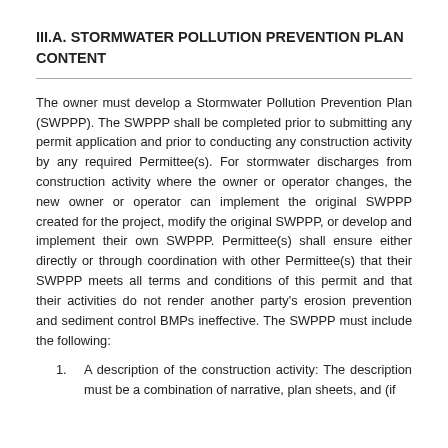III.A. STORMWATER POLLUTION PREVENTION PLAN CONTENT
The owner must develop a Stormwater Pollution Prevention Plan (SWPPP). The SWPPP shall be completed prior to submitting any permit application and prior to conducting any construction activity by any required Permittee(s). For stormwater discharges from construction activity where the owner or operator changes, the new owner or operator can implement the original SWPPP created for the project, modify the original SWPPP, or develop and implement their own SWPPP. Permittee(s) shall ensure either directly or through coordination with other Permittee(s) that their SWPPP meets all terms and conditions of this permit and that their activities do not render another party’s erosion prevention and sediment control BMPs ineffective. The SWPPP must include the following:
1. A description of the construction activity: The description must be a combination of narrative, plan sheets, and (if